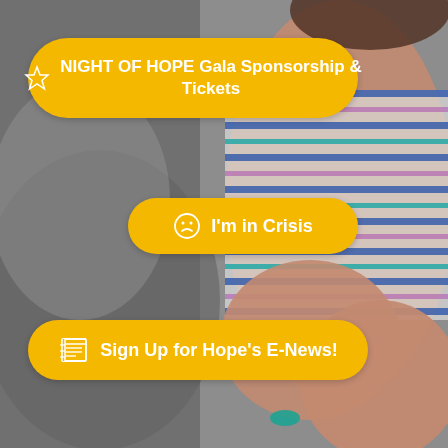[Figure (photo): Background photo of a young child with arms crossed, wearing a colorful striped shirt, with a blurred indoor background]
NIGHT OF HOPE Gala Sponsorship & Tickets
I'm in Crisis
Sign Up for Hope's E-News!